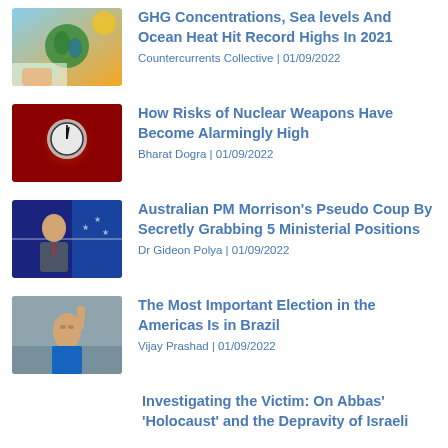[Figure (photo): Earth globe held in hands against sunflower background]
GHG Concentrations, Sea levels And Ocean Heat Hit Record Highs In 2021
Countercurrents Collective | 01/09/2022
[Figure (photo): Doomsday clock on red background]
How Risks of Nuclear Weapons Have Become Alarmingly High
Bharat Dogra | 01/09/2022
[Figure (photo): Australian PM Morrison with Australian flag in background]
Australian PM Morrison's Pseudo Coup By Secretly Grabbing 5 Ministerial Positions
Dr Gideon Polya | 01/09/2022
[Figure (photo): Man raising fist in blue shirt]
The Most Important Election in the Americas Is in Brazil
Vijay Prashad | 01/09/2022
Investigating the Victim: On Abbas' 'Holocaust' and the Depravity of Israeli